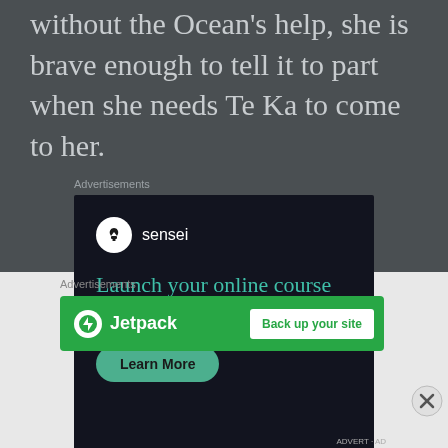without the Ocean's help, she is brave enough to tell it to part when she needs Te Ka to come to her.
Advertisements
[Figure (screenshot): Sensei advertisement: dark background with Sensei logo (tree in circle), tagline 'Launch your online course with WordPress', and a teal 'Learn More' button]
Advertisements
[Figure (screenshot): Jetpack advertisement: green background with Jetpack logo and 'Back up your site' button]